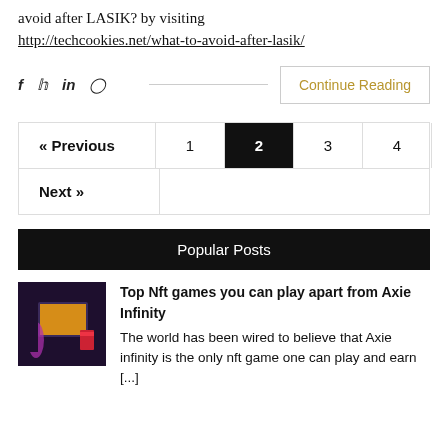avoid after LASIK? by visiting http://techcookies.net/what-to-avoid-after-lasik/
[Figure (other): Social share icons (f, twitter bird, in, pinterest) and Continue Reading button]
| « Previous | 1 | 2 | 3 | 4 | 5 |  |
| Next » |  |  |  |  |  |  |
Popular Posts
[Figure (photo): Thumbnail image for Top Nft games post showing gaming scene with purple lighting]
Top Nft games you can play apart from Axie Infinity The world has been wired to believe that Axie infinity is the only nft game one can play and earn [...]